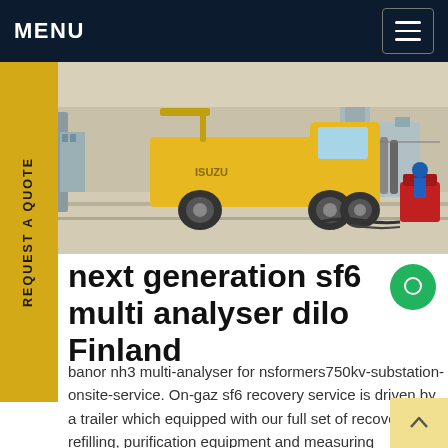MENU
[Figure (photo): Industrial site photo showing a yellow ISUZU truck on a concrete yard with gas cylinders, equipment, and a worker in blue helmet in the background. Red machinery and hoses visible on the right.]
next generation sf6 multi analyser dilo Finland
banor nh3 multi-analyser for nsformers750kv-substation-onsite-service. On-gaz sf6 recovery service is driven by a trailer which equipped with our full set of recovery, refilling, purification equipment and measuring instrument, drive to the substandard gasGet price